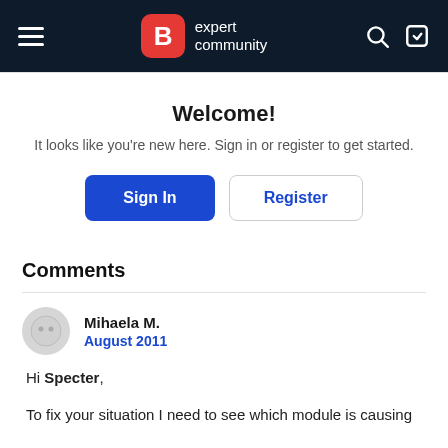B expert community
Welcome!
It looks like you're new here. Sign in or register to get started.
Sign In | Register
Comments
Mihaela M.
August 2011
Hi Specter,
To fix your situation I need to see which module is causing